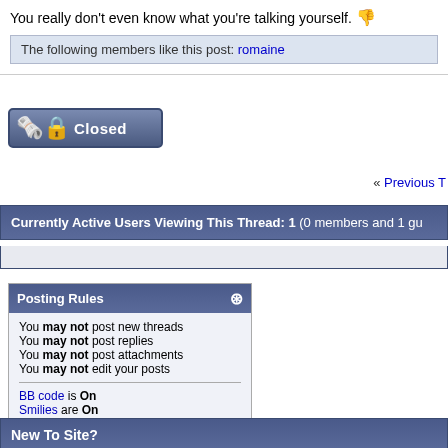You really don't even know what you're talking yourself. 👎
The following members like this post: romaine
[Figure (other): Closed thread button with lock icon]
« Previous T
Currently Active Users Viewing This Thread: 1 (0 members and 1 gu
| Posting Rules |
| --- |
| You may not post new threads |
| You may not post replies |
| You may not post attachments |
| You may not edit your posts |
| BB code is On |
| Smilies are On |
| [IMG] code is On |
| HTML code is Off |
New To Site?